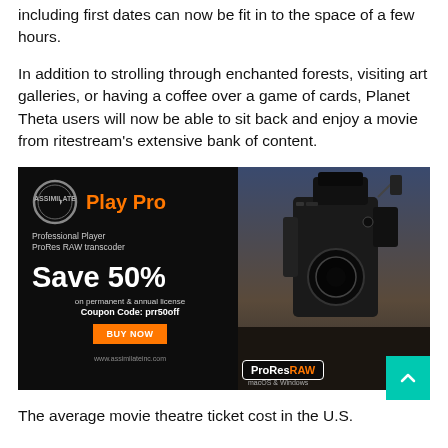including first dates can now be fit in to the space of a few hours.
In addition to strolling through enchanted forests, visiting art galleries, or having a coffee over a game of cards, Planet Theta users will now be able to sit back and enjoy a movie from ritestream's extensive bank of content.
[Figure (infographic): Advertisement for ASSIMILATE Play Pro software. Black background with orange and white text. Left side: ASSIMILATE logo (circle), 'Play Pro' in orange, 'Professional Player ProRes RAW transcoder', 'Save 50% on permanent & annual license', 'Coupon Code: prr50off', orange BUY NOW button, www.assimilateinc.com. Right side: photo of professional cinema camera. Bottom right: ProRes RAW badge and 'macOS & Windows'. Teal back-to-top arrow in corner.]
The average movie theatre ticket cost in the U.S.